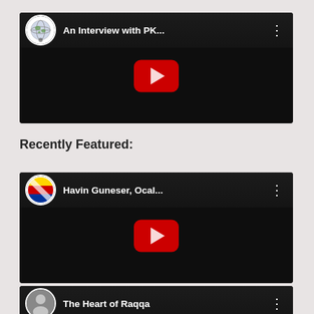[Figure (screenshot): YouTube embedded video thumbnail: 'An Interview with PK...' with globe channel icon and play button]
Recently Featured:
[Figure (screenshot): YouTube embedded video thumbnail: 'Havin Guneser, Ocal...' with colored-stripes flag channel icon and play button]
[Figure (screenshot): YouTube embedded video thumbnail: 'The Heart of Raqqa' with person channel icon and play button]